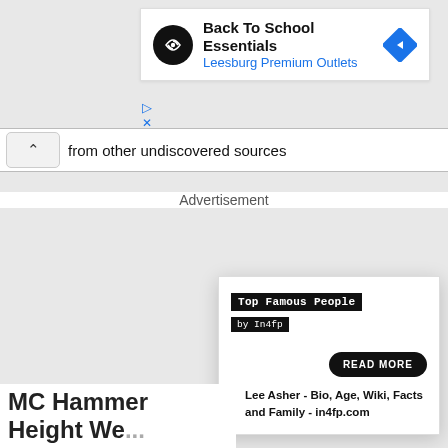[Figure (screenshot): Advertisement banner for 'Back To School Essentials' at Leesburg Premium Outlets, with a black circular logo with infinity-like symbol, blue navigation diamond icon, and play/close ad controls below.]
from other undiscovered sources
Advertisement
[Figure (screenshot): Popup card widget for 'Top Famous People by In4fp' with black badge labels, a READ MORE pill button, and a link block reading 'Lee Asher - Bio, Age, Wiki, Facts and Family - in4fp.com']
MC Hammer Height We...